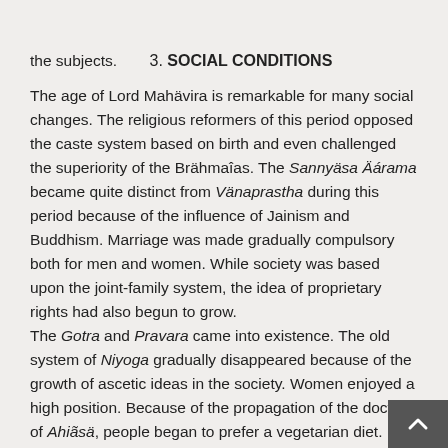the subjects.
3. SOCIAL CONDITIONS
The age of Lord Mahävira is remarkable for many social changes. The religious reformers of this period opposed the caste system based on birth and even challenged the superiority of the Brähmaîas. The Sannyäsa Äárama became quite distinct from Vänaprastha during this period because of the influence of Jainism and Buddhism. Marriage was made gradually compulsory both for men and women. While society was based upon the joint-family system, the idea of proprietary rights had also begun to grow.
The Gotra and Pravara came into existence. The old system of Niyoga gradually disappeared because of the growth of ascetic ideas in the society. Women enjoyed a high position. Because of the propagation of the doctrine of Ahiãsä, people began to prefer a vegetarian diet.